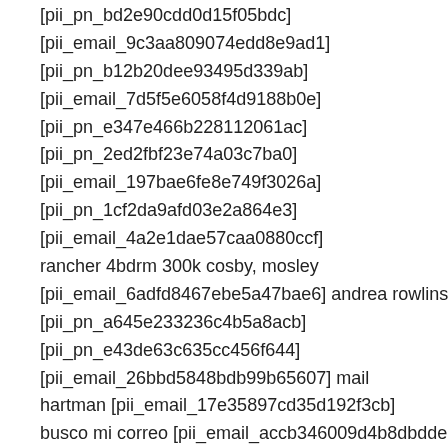[pii_pn_bd2e90cdd0d15f05bdc]
[pii_email_9c3aa809074edd8e9ad1]
[pii_pn_b12b20dee93495d339ab]
[pii_email_7d5f5e6058f4d9188b0e]
[pii_pn_e347e466b228112061ac]
[pii_pn_2ed2fbf23e74a03c7ba0]
[pii_email_197bae6fe8e749f3026a]
[pii_pn_1cf2da9afd03e2a864e3]
[pii_email_4a2e1dae57caa0880ccf]
rancher 4bdrm 300k cosby, mosley
[pii_email_6adfd8467ebe5a47bae6] andrea rowlins
[pii_pn_a645e233236c4b5a8acb]
[pii_pn_e43de63c635cc456f644]
[pii_email_26bbd5848bdb99b65607] mail
hartman [pii_email_17e35897cd35d192f3cb]
busco mi correo [pii_email_accb346009d4b8dbdde8]
[pii_email_77e00570a00c55404873]